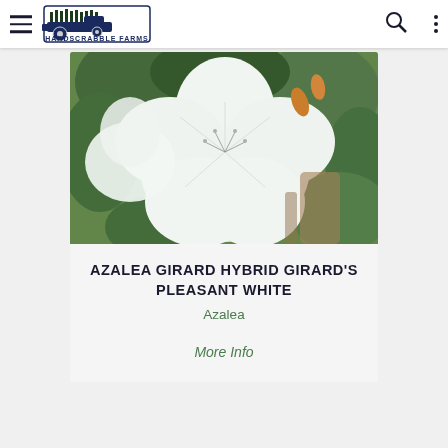Hardscrabble Farms navigation bar
[Figure (photo): Close-up photo of white azalea flowers with green leaves and yellow-orange buds in the background]
AZALEA GIRARD HYBRID GIRARD'S PLEASANT WHITE
Azalea
More Info